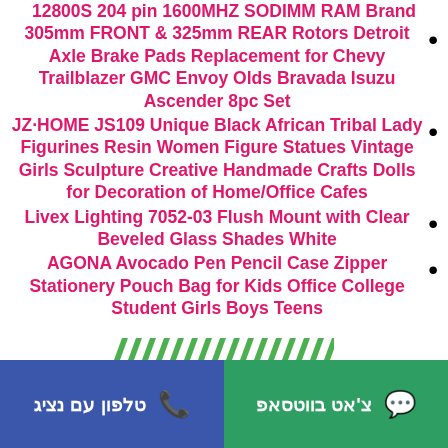12800S 204 pin 1600MHZ SODIMM RAM Brand
305mm FRONT & 325mm REAR Rotors Detroit Axle Brake Pads Replacement for Chevy Trailblazer GMC Envoy Olds Bravada Isuzu Ascender 8pc Set
JZ·HOME JS109 Unique Black African Tribal Lady Figurines Resin Women Figure Statues Vintage Girls Sculpture Creative Handmade Crafts Dolls for Decoration of Home/Office Cafes
Livex Lighting 7052-03 Flush Mount with Clear Beveled Glass Shades White
AGONA Avocado Pen Pencil Case Zipper Stationery Pouch Bag for Kids Office College Student Girls Boys Teens
[Figure (illustration): Green diagonal stripe pattern / decorative element]
טלפון עם נציג | צ'אט בווטסאפ